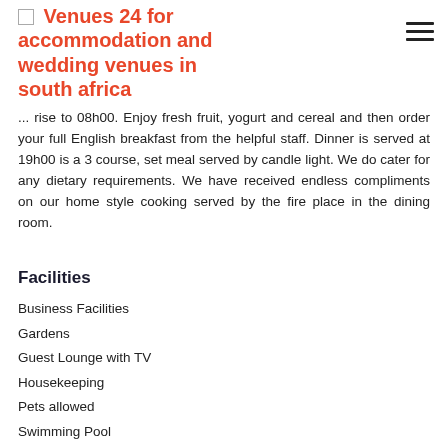Venues 24 for accommodation and wedding venues in south africa
... rise to 08h00. Enjoy fresh fruit, yogurt and cereal and then order your full English breakfast from the helpful staff. Dinner is served at 19h00 is a 3 course, set meal served by candle light. We do cater for any dietary requirements. We have received endless compliments on our home style cooking served by the fire place in the dining room.
Facilities
Business Facilities
Gardens
Guest Lounge with TV
Housekeeping
Pets allowed
Swimming Pool
Safe Deposit Box
Bar